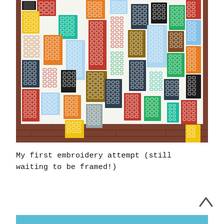[Figure (photo): Photograph of a colorful embroidery/quilt piece displayed against a brick wall. The piece features a white fabric background with many rectangular patches in various bold colors (red, orange, yellow, green, blue, teal, black, brown, gray, light blue) each containing repeated embroidered loop/ring patterns in contrasting colors.]
My first embroidery attempt (still waiting to be framed!)
[Figure (other): Upward-pointing caret/chevron arrow symbol for navigation]